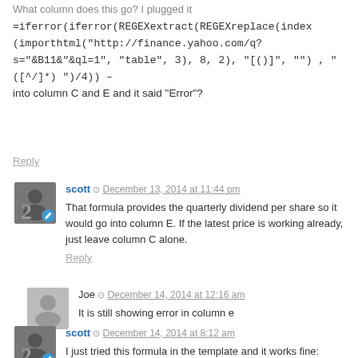What column does this go? I plugged it =iferror(iferror(REGEXextract(REGEXreplace(index(importhtml("http://finance.yahoo.com/q?s="&B11&"&ql=1", "table", 3), 8, 2), "[()]" , "") , "([^/]*) ")/4) – into column C and E and it said "Error"?
Reply
scott  December 13, 2014 at 11:44 pm
That formula provides the quarterly dividend per share so it would go into column E. If the latest price is working already, just leave column C alone.
Reply
Joe  December 14, 2014 at 12:16 am
It is still showing error in column e
scott  December 14, 2014 at 8:12 am
I just tried this formula in the template and it works fine:
=iferror(iferror(REGEXextract(REGEXreplace(index